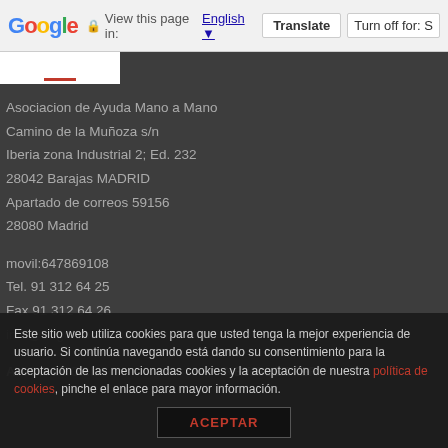Google — View this page in: English [▼] | Translate | Turn off for: S
[Figure (screenshot): Logo strip with white box and red underline on dark background]
Asociacion de Ayuda Mano a Mano
Camino de la Muñoza s/n
Iberia zona Industrial 2; Ed. 232
28042 Barajas MADRID
Apartado de correos 59156
28080 Madrid
movil:647869108
Tel. 91 312 64 25
Fax 91 312 64 26
info@ongmanoamano.com
AVISO LEGAL
NEWSLETTER
Este sitio web utiliza cookies para que usted tenga la mejor experiencia de usuario. Si continúa navegando está dando su consentimiento para la aceptación de las mencionadas cookies y la aceptación de nuestra política de cookies, pinche el enlace para mayor información.
ACEPTAR